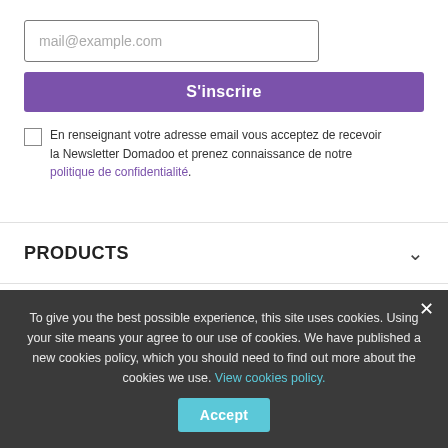[Figure (illustration): Purple smartphone with envelope/email notification icon and orange badge showing '1', with motion lines suggesting speed, on white background]
mail@example.com
S'inscrire
En renseignant votre adresse email vous acceptez de recevoir la Newsletter Domadoo et prenez connaissance de notre politique de confidentialité.
PRODUCTS
OUR COMPANY
YOUR ACCOUNT
To give you the best possible experience, this site uses cookies. Using your site means your agree to our use of cookies. We have published a new cookies policy, which you should need to find out more about the cookies we use. View cookies policy.